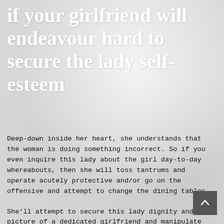if your girlfriend will endeavour hard to secure the lady self-esteem
Deep-down inside her heart, she understands that the woman is doing something incorrect. So if you even inquire this lady about the girl day-to-day whereabouts, then she will toss tantrums and operate acutely protective and/or go on the offensive and attempt to change the dining tables.
She'll attempt to secure this lady dignity and picture of a dedicated girlfriend and manipulate your into trusting her again.